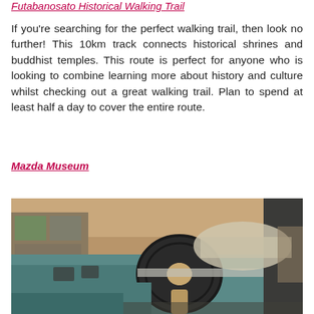Futabanosato Historical Walking Trail
If you're searching for the perfect walking trail, then look no further! This 10km track connects historical shrines and buddhist temples. This route is perfect for anyone who is looking to combine learning more about history and culture whilst checking out a great walking trail. Plan to spend at least half a day to cover the entire route.
Mazda Museum
[Figure (photo): Interior view of a vintage teal/turquoise car at the Mazda Museum, showing the steering wheel, dashboard, and other classic cars in the background of the museum display area.]